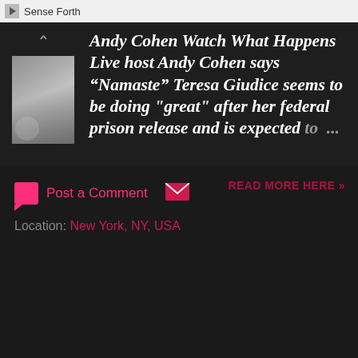Sense Forth
Andy Cohen Watch What Happens Live host Andy Cohen says “Namaste” Teresa Giudice seems to be doing "great" after her federal prison release and is expected to ...
Post a Comment
READ MORE HERE »
Location: New York, NY, USA